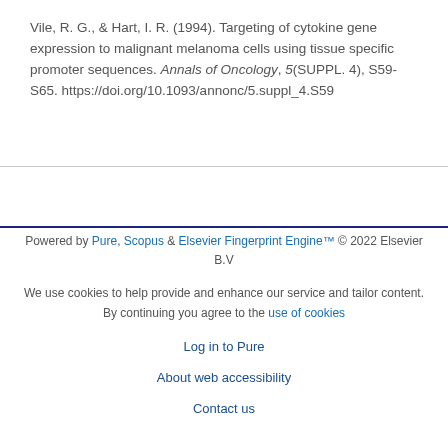Vile, R. G., & Hart, I. R. (1994). Targeting of cytokine gene expression to malignant melanoma cells using tissue specific promoter sequences. Annals of Oncology, 5(SUPPL. 4), S59-S65. https://doi.org/10.1093/annonc/5.suppl_4.S59
Powered by Pure, Scopus & Elsevier Fingerprint Engine™ © 2022 Elsevier B.V

We use cookies to help provide and enhance our service and tailor content. By continuing you agree to the use of cookies

Log in to Pure

About web accessibility

Contact us